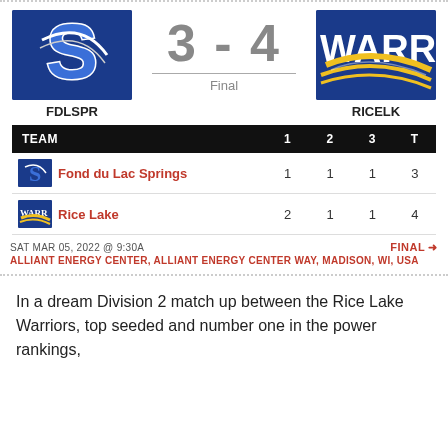[Figure (infographic): Sports scoreboard showing FDLSPR vs RICELK final score 3-4 with team logos, period scores table, date/venue info]
| TEAM | 1 | 2 | 3 | T |
| --- | --- | --- | --- | --- |
| Fond du Lac Springs | 1 | 1 | 1 | 3 |
| Rice Lake | 2 | 1 | 1 | 4 |
SAT MAR 05, 2022 @ 9:30A
ALLIANT ENERGY CENTER, ALLIANT ENERGY CENTER WAY, MADISON, WI, USA
In a dream Division 2 match up between the Rice Lake Warriors, top seeded and number one in the power rankings,